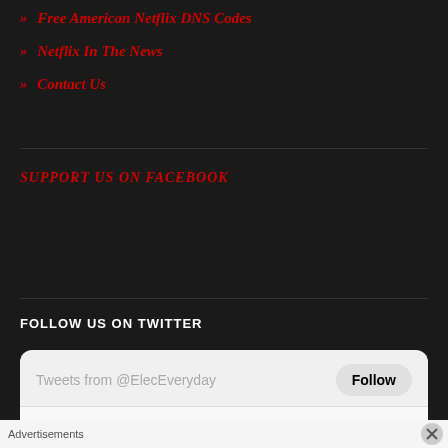» Free American Netflix DNS Codes
» Netflix In The News
» Contact Us
SUPPORT US ON FACEBOOK
FOLLOW US ON TWITTER
[Figure (screenshot): Twitter widget showing 'Tweets from @ElecEveryday' with a Follow button and a retweet entry 'EverydayElectronics Retweeted']
Advertisements